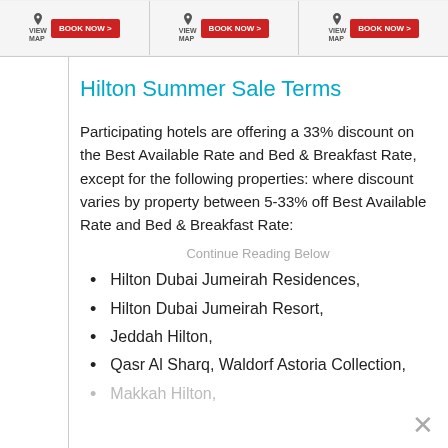[Figure (screenshot): Top banner showing three hotel listing cards, each with a VIEW MAP button and a red BOOK NOW > button]
Hilton Summer Sale Terms
Participating hotels are offering a 33% discount on the Best Available Rate and Bed & Breakfast Rate, except for the following properties: where discount varies by property between 5-33% off Best Available Rate and Bed & Breakfast Rate:
Continue Reading Below
Hilton Dubai Jumeirah Residences,
Hilton Dubai Jumeirah Resort,
Jeddah Hilton,
Qasr Al Sharq, Waldorf Astoria Collection,
Makkah Hilton,